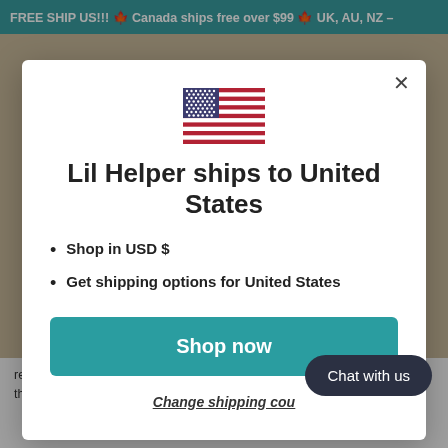FREE SHIP US!!! 🍁 Canada ships free over $99 🍁 UK, AU, NZ –
[Figure (illustration): US flag emoji/illustration inside modal dialog]
Lil Helper ships to United States
Shop in USD $
Get shipping options for United States
Shop now
Change shipping cou...
Chat with us
require special detergent, soaking, or a... to the laundry gods. Simply rinse any solid stuff, throw